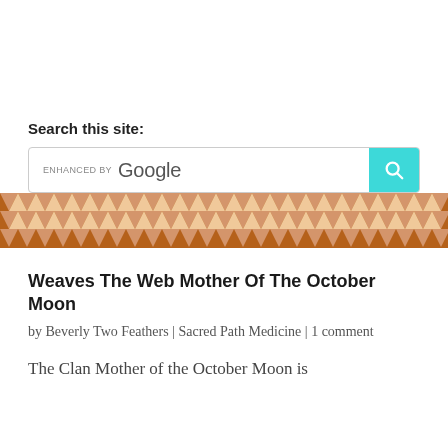Search this site:
[Figure (screenshot): Google search bar with 'enhanced by Google' label and a cyan search button with magnifying glass icon]
[Figure (illustration): Decorative zigzag/diamond pattern band in brown/orange and tan colors spanning the full width]
Weaves The Web Mother Of The October Moon
by Beverly Two Feathers | Sacred Path Medicine | 1 comment
The Clan Mother of the October Moon is